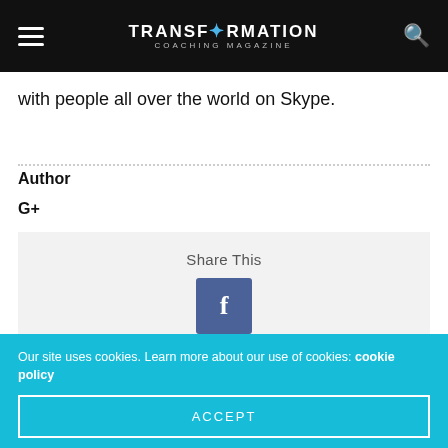TRANSFORMATION COACHING MAGAZINE
with people all over the world on Skype.
Author
G+
Share This
[Figure (other): Facebook share button - blue square with white letter f]
PREVIOUS ARTICLE
Spring Tune-Up
Our site uses cookies. Learn more about our use of cookies: cookie policy
ACCEPT